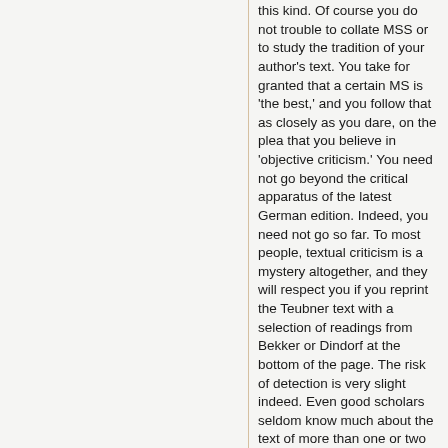this kind. Of course you do not trouble to collate MSS or to study the tradition of your author's text. You take for granted that a certain MS is 'the best,' and you follow that as closely as you dare, on the plea that you believe in 'objective criticism.' You need not go beyond the critical apparatus of the latest German edition. Indeed, you need not go so far. To most people, textual criticism is a mystery altogether, and they will respect you if you reprint the Teubner text with a selection of readings from Bekker or Dindorf at the bottom of the page. The risk of detection is very slight indeed. Even good scholars seldom know much about the text of more than one or two authors, and a few judicious